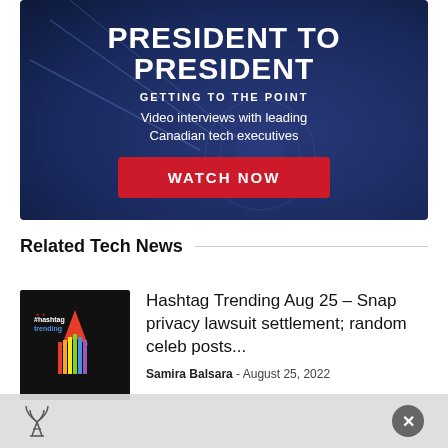[Figure (illustration): Advertisement banner with dark navy blue background showing 'PRESIDENT TO PRESIDENT - GETTING TO THE POINT - Video interviews with leading Canadian tech executives' with a red WATCH NOW button]
Related Tech News
[Figure (illustration): Thumbnail image for Hashtag Trending podcast with black background and colorful arrow logo]
Hashtag Trending Aug 25 – Snap privacy lawsuit settlement; random celeb posts...
Samira Balsara - August 25, 2022